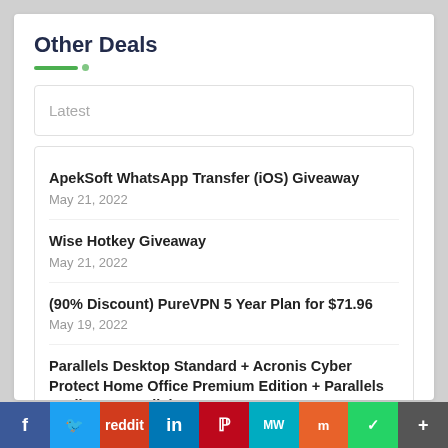Other Deals
Latest
ApekSoft WhatsApp Transfer (iOS) Giveaway
May 21, 2022
Wise Hotkey Giveaway
May 21, 2022
(90% Discount) PureVPN 5 Year Plan for $71.96
May 19, 2022
Parallels Desktop Standard + Acronis Cyber Protect Home Office Premium Edition + Parallels Toolbox + Parallels Access
f  Twitter  Reddit  in  Pinterest  MW  Mix  WhatsApp  +